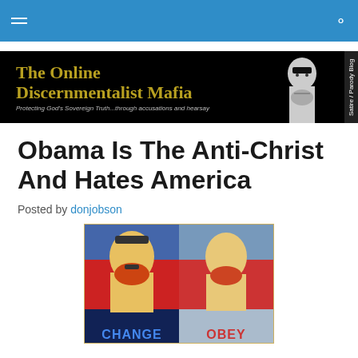[Figure (illustration): Website banner for 'The Online Discernmentalist Mafia' blog on black background with yellow/gold text and a silhouette figure. Subtitle: 'Protecting God's Sovereign Truth...through accusations and hearsay'. Right side reads 'Satire / Parody Blog' vertically.]
Obama Is The Anti-Christ And Hates America
Posted by donjobson
[Figure (illustration): Two side-by-side propaganda-style posters. Left poster shows a stylized portrait with 'CHANGE' text at bottom in blue tones and red. Right poster shows a stylized portrait with 'OBEY' text at bottom, similar red/blue style.]